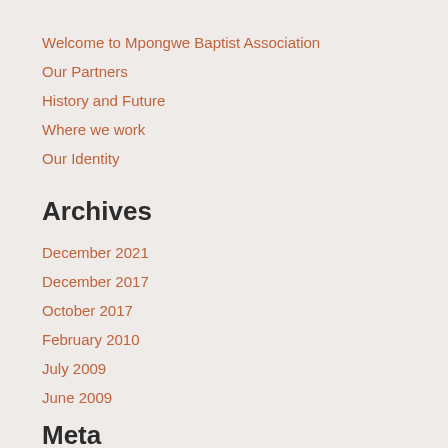Welcome to Mpongwe Baptist Association
Our Partners
History and Future
Where we work
Our Identity
Archives
December 2021
December 2017
October 2017
February 2010
July 2009
June 2009
Meta